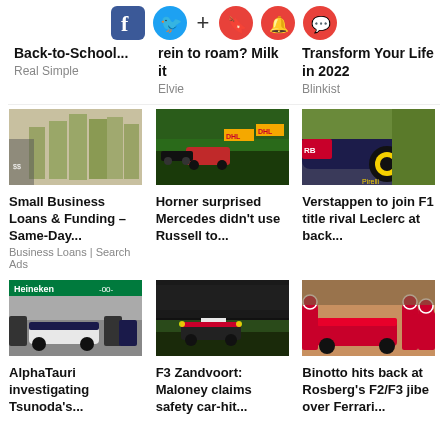[Figure (infographic): Social media toolbar with Facebook, Twitter, plus, bookmark, bell, and chat icons]
Back-to-School...
Real Simple
rein to roam? Milk it
Elvie
Transform Your Life in 2022
Blinkist
[Figure (photo): Man standing in front of stacks of cash/money bundles]
[Figure (photo): Formula 1 safety car and F1 cars racing on a track with DHL branding]
[Figure (photo): Close-up of a Red Bull Formula 1 car rear wheel and diffuser]
Small Business Loans & Funding – Same-Day...
Business Loans | Search Ads
Horner surprised Mercedes didn't use Russell to...
Verstappen to join F1 title rival Leclerc at back...
[Figure (photo): AlphaTauri F1 car in pit lane at circuit with Heineken branding]
[Figure (photo): F3 car on track at night or dusk, safety car incident]
[Figure (photo): Ferrari F1 pit crew in red suits working on car during pit stop]
AlphaTauri investigating Tsunoda's...
F3 Zandvoort: Maloney claims safety car-hit...
Binotto hits back at Rosberg's F2/F3 jibe over Ferrari...